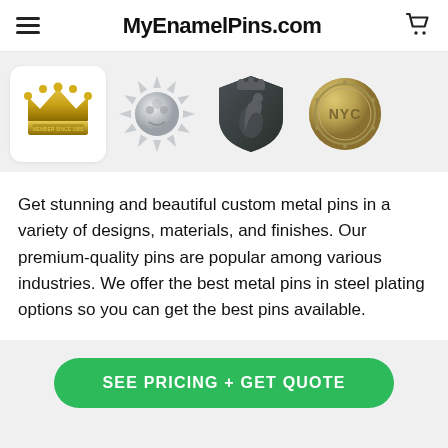MyEnamelPins.com
[Figure (photo): Four custom metal pins: a gold crown pin, a silver sunburst pin, a dark shield/crest pin with a rearing horse, and a round antique gold NYC medallion coin pin]
Get stunning and beautiful custom metal pins in a variety of designs, materials, and finishes. Our premium-quality pins are popular among various industries. We offer the best metal pins in steel plating options so you can get the best pins available.
SEE PRICING + GET QUOTE